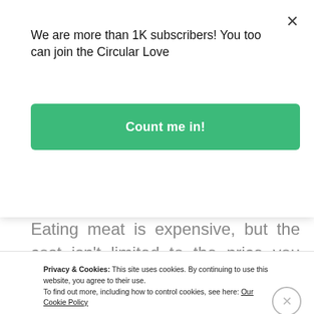We are more than 1K subscribers! You too can join the Circular Love
Count me in!
Eating meat is expensive, but the cost isn't limited to the price you pay at the store. Did you know that eating meat also contributes to greenhouse gas emissions, soil erosion and water overuse? And surprisingly, turning vegetarian won't
Privacy & Cookies: This site uses cookies. By continuing to use this website, you agree to their use.
To find out more, including how to control cookies, see here: Our Cookie Policy
close